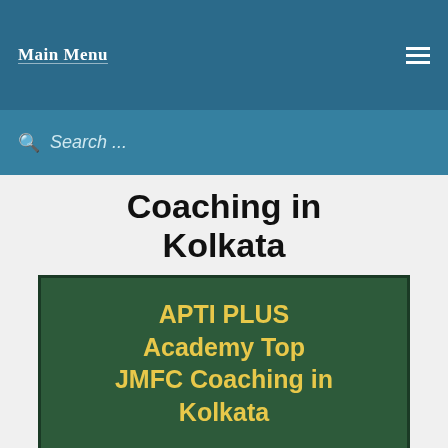Main Menu
Search ...
Coaching in Kolkata
[Figure (illustration): Green banner with bold yellow text reading: APTI PLUS Academy Top JMFC Coaching in Kolkata]
|  |  |